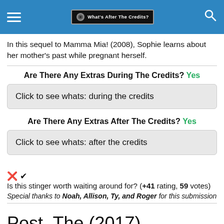What's After The Credits?
In this sequel to Mamma Mia! (2008), Sophie learns about her mother's past while pregnant herself.
Are There Any Extras During The Credits? Yes
Click to see whats: during the credits
Are There Any Extras After The Credits? Yes
Click to see whats: after the credits
Is this stinger worth waiting around for? (+41 rating, 59 votes)
Special thanks to Noah, Allison, Ty, and Roger for this submission
Post, The (2017)